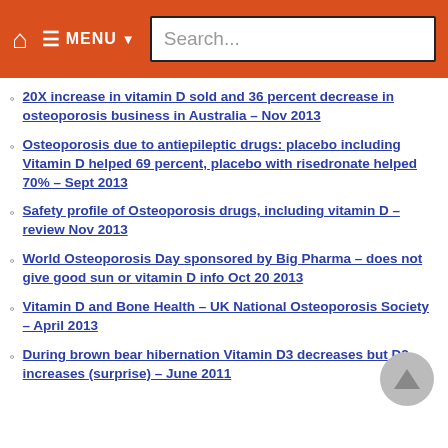Home | MENU | Search...
20X increase in vitamin D sold and 36 percent decrease in osteoporosis business in Australia – Nov 2013
Osteoporosis due to antiepileptic drugs: placebo including Vitamin D helped 69 percent, placebo with risedronate helped 70% – Sept 2013
Safety profile of Osteoporosis drugs, including vitamin D – review Nov 2013
World Osteoporosis Day sponsored by Big Pharma – does not give good sun or vitamin D info Oct 20 2013
Vitamin D and Bone Health – UK National Osteoporosis Society – April 2013
During brown bear hibernation Vitamin D3 decreases but D2 increases (surprise) – June 2011